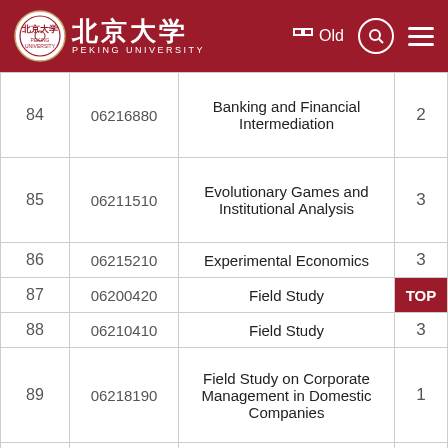Peking University - Old
| # | Code | Course Name | Credits |
| --- | --- | --- | --- |
| 84 | 06216880 | Banking and Financial Intermediation | 2 |
| 85 | 06211510 | Evolutionary Games and Institutional Analysis | 3 |
| 86 | 06215210 | Experimental Economics | 3 |
| 87 | 06200420 | Field Study | TOP |
| 88 | 06210410 | Field Study | 3 |
| 89 | 06218190 | Field Study on Corporate Management in Domestic Companies | 1 |
| 90 | 06216902 | Finance Economics | 3 |
| 91 | 06213640 | Finance Management | 2 |